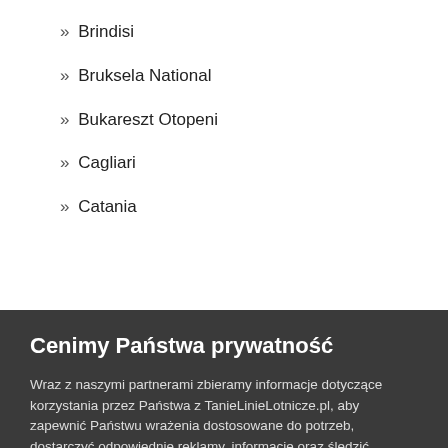» Brindisi
» Bruksela National
» Bukareszt Otopeni
» Cagliari
» Catania
Cenimy Państwa prywatność
Wraz z naszymi partnerami zbieramy informacje dotyczące korzystania przez Państwa z TanieLinieLotnicze.pl, aby zapewnić Państwu wrażenia dostosowane do potrzeb, dostarczyć odpowiednie reklamy, informacje oraz śledzić konwersje. Pomaga to nam w realizacji naszej usługi, doskonaleniu jej oraz utrzymywaniu świadomości potrzeb osób odwiedzających naszą stronę. Prosimy o zapoznanie się z naszym regulaminem dotyczącym plików „cookie" lub sposobem ich kontrolowania.
OK
Edytuj preferencje w zakresie plików „cookie"